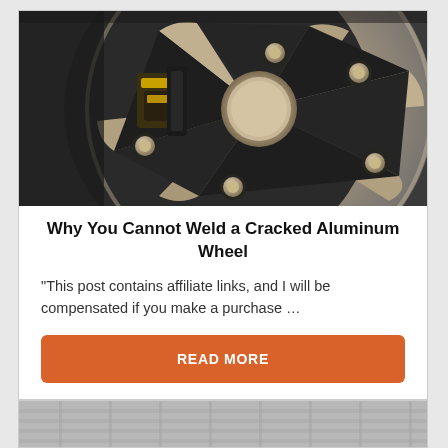[Figure (photo): Close-up photograph of a silver/beige aluminum car wheel showing lug nuts, spokes, and center cap with brake components visible in the background]
Why You Cannot Weld a Cracked Aluminum Wheel
“This post contains affiliate links, and I will be compensated if you make a purchase …
READ MORE
[Figure (photo): Partial view of a second article card showing a tire/wheel image at the bottom of the page]